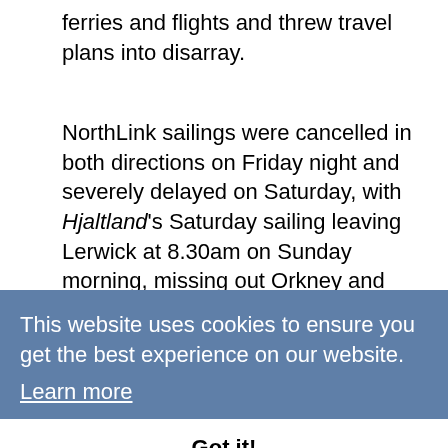ferries and flights and threw travel plans into disarray.
NorthLink sailings were cancelled in both directions on Friday night and severely delayed on Saturday, with Hjaltland's Saturday sailing leaving Lerwick at 8.30am on Sunday morning, missing out Orkney and arriving in Aberdeen at 6pm. She then sailed back from Aberdeen direct to Lerwick at 8pm.
The Saturday night sailing of the Hrossey was also delayed, with the vessel leaving Aberdeen at 3am and sailing direct to Lerwick, arriving around 1pm on Sunday.
Sunday's sailing of Hjaltland to Lerwick arrived on
This website uses cookies to ensure you get the best experience on our website. Learn more Got it!